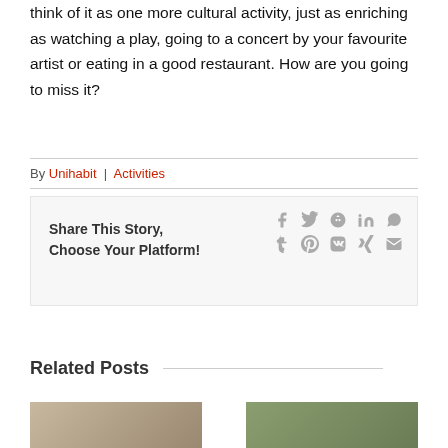think of it as one more cultural activity, just as enriching as watching a play, going to a concert by your favourite artist or eating in a good restaurant. How are you going to miss it?
By Unihabit | Activities
Share This Story, Choose Your Platform!
Related Posts